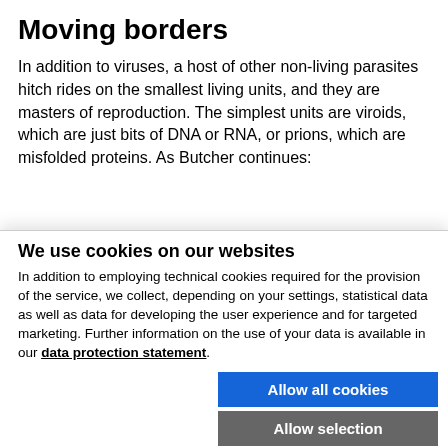Moving borders
In addition to viruses, a host of other non-living parasites hitch rides on the smallest living units, and they are masters of reproduction. The simplest units are viroids, which are just bits of DNA or RNA, or prions, which are misfolded proteins. As Butcher continues:
We use cookies on our websites
In addition to employing technical cookies required for the provision of the service, we collect, depending on your settings, statistical data as well as data for developing the user experience and for targeted marketing. Further information on the use of your data is available in our data protection statement.
Allow all cookies
Allow selection
Use necessary cookies only
Necessary technical cookies  Functional cookies  Statistics cookies  Marketing cookies  Show details